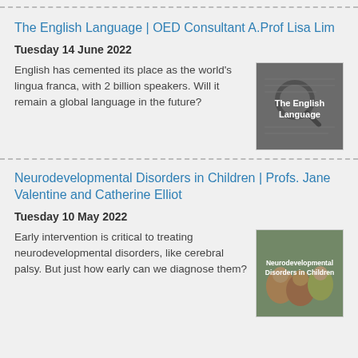The English Language | OED Consultant A.Prof Lisa Lim
Tuesday 14 June 2022
English has cemented its place as the world's lingua franca, with 2 billion speakers. Will it remain a global language in the future?
[Figure (photo): Thumbnail image for 'The English Language' podcast or article, showing a magnifying glass over text with overlay label 'The English Language']
Neurodevelopmental Disorders in Children | Profs. Jane Valentine and Catherine Elliot
Tuesday 10 May 2022
Early intervention is critical to treating neurodevelopmental disorders, like cerebral palsy. But just how early can we diagnose them?
[Figure (photo): Thumbnail image for 'Neurodevelopmental Disorders in Children' article, showing children with overlay label 'Neurodevelopmental Disorders in Children']